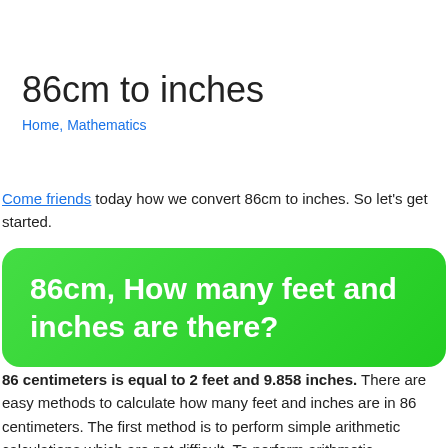86cm to inches
Home, Mathematics
Come friends today how we convert 86cm to inches. So let's get started.
86cm, How many feet and inches are there?
86 centimeters is equal to 2 feet and 9.858 inches. There are easy methods to calculate how many feet and inches are in 86 centimeters. The first method is to perform simple arithmetic calculations which are not difficult. To perform arithmetic calculations, you need to be aware of length measurement units and how they work. Since we are going to do